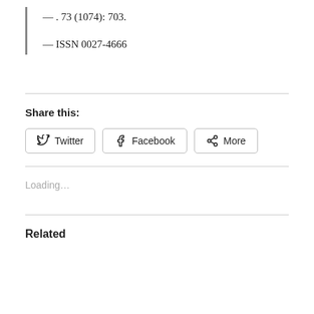— . 73 (1074): 703.
— ISSN 0027-4666
Share this:
Twitter  Facebook  More
Loading...
Related